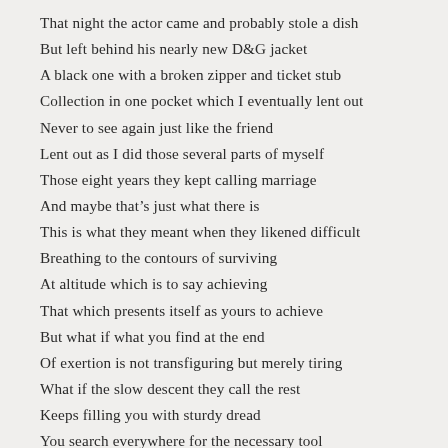That night the actor came and probably stole a dish
But left behind his nearly new D&G jacket
A black one with a broken zipper and ticket stub
Collection in one pocket which I eventually lent out
Never to see again just like the friend
Lent out as I did those several parts of myself
Those eight years they kept calling marriage
And maybe that's just what there is
This is what they meant when they likened difficult
Breathing to the contours of surviving
At altitude which is to say achieving
That which presents itself as yours to achieve
But what if what you find at the end
Of exertion is not transfiguring but merely tiring
What if the slow descent they call the rest
Keeps filling you with sturdy dread
You search everywhere for the necessary tool
And no number of dinner parties and house concerts
Seem sufficient to resuscitate the wonder
And all you can think of is that purple dotted
Shirt you used to wear and all the times
You wished you could jet off to where it rains